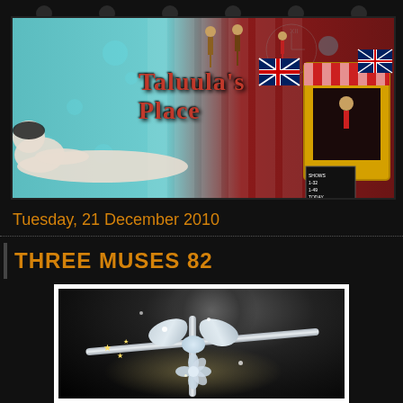[Figure (illustration): Taluula's Place blog banner — colorful collage with teal and dark red background, reclining art-deco figure on left, 'Taluula's Place' text in red, carnival/puppet show booth on right with Union Jack flags, circus figures, and show signs.]
Tuesday, 21 December 2010
THREE MUSES 82
[Figure (illustration): Dark background image with glowing gift/ornament wrapped in silver ribbons and bow, sparkles and stars, soft light radiating from below the bow, decorative flower accent.]